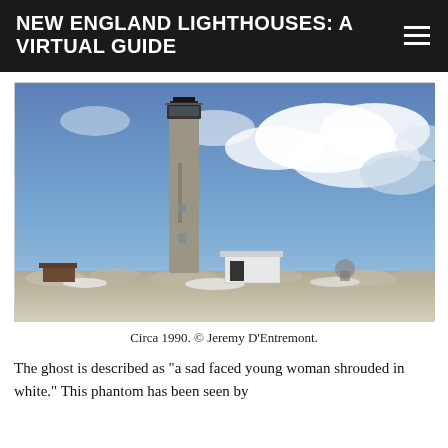NEW ENGLAND LIGHTHOUSES: A VIRTUAL GUIDE
[Figure (photo): Tall stone lighthouse tower with a small white keeper's building at its base, rocky shoreline in the foreground, dramatic blue sky with clouds in the background. Circa 1990.]
Circa 1990. © Jeremy D'Entremont.
The ghost is described as "a sad faced young woman shrouded in white." This phantom has been seen by